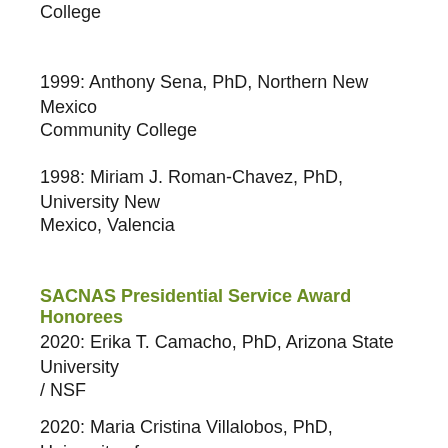2002: Susan/s Arteaga, PhD, El Paso Community College
1999: Anthony Sena, PhD, Northern New Mexico Community College
1998: Miriam J. Roman-Chavez, PhD, University New Mexico, Valencia
SACNAS Presidential Service Award Honorees
2020: Erika T. Camacho, PhD, Arizona State University / NSF
2020: Maria Cristina Villalobos, PhD, University of Texas Rio Grande Valley